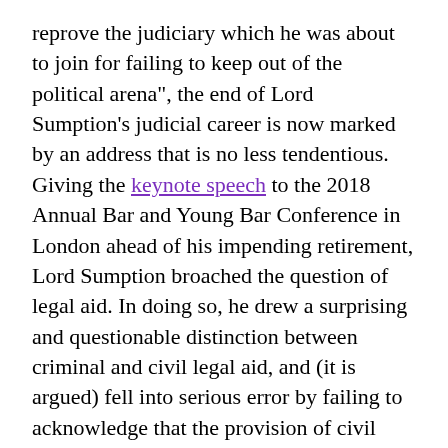reprove the judiciary which he was about to join for failing to keep out of the political arena", the end of Lord Sumption’s judicial career is now marked by an address that is no less tendentious. Giving the keynote speech to the 2018 Annual Bar and Young Bar Conference in London ahead of his impending retirement, Lord Sumption broached the question of legal aid. In doing so, he drew a surprising and questionable distinction between criminal and civil legal aid, and (it is argued) fell into serious error by failing to acknowledge that the provision of civil legal aid is, first and foremost, a constitutional issue.
At the beginning of the relevant section of his lecture, Lord Sumption noted that “legal aid cuts have fundamentally changed the nature of practice in every area where the clients are too poor to do without it”. He went on to observe that: “That includes most crime and family work, two fields in which litigation is hardly